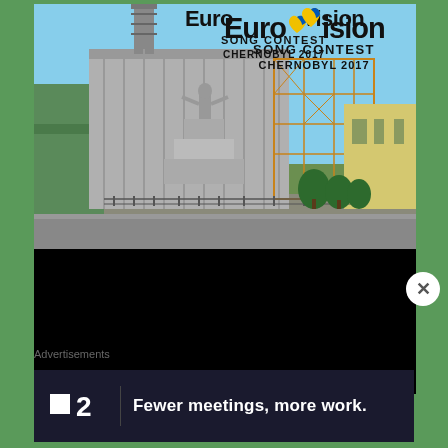[Figure (photo): Composite image: photograph of the Chernobyl Nuclear Power Plant (reactor building with steel scaffolding, a monument in foreground, trees and yellow building visible) with the Eurovision Song Contest logo overlaid in the top right, reading 'Eurovision Song Contest Chernobyl 2017'. Lower half of the image is blacked out.]
Advertisements
[Figure (logo): Advertisement banner with dark navy background showing a logo (small white square followed by '2') and the text 'Fewer meetings, more work.']